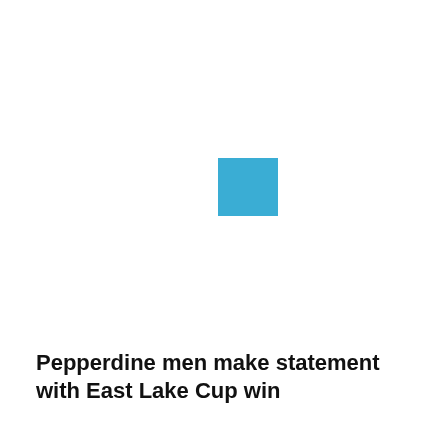[Figure (illustration): Small blue square shape, roughly centered-right in the upper-middle area of the page]
Pepperdine men make statement with East Lake Cup win